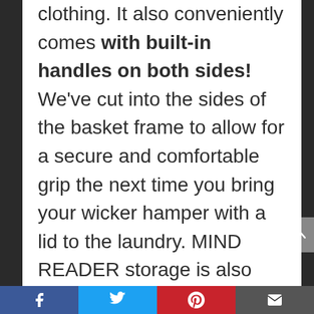clothing. It also conveniently comes with built-in handles on both sides! We've cut into the sides of the basket frame to allow for a secure and comfortable grip the next time you bring your wicker hamper with a lid to the laundry. MIND READER storage is also made with the very best in high-quality plastic, making it different from mesh laundry bags and other hampers that are made with cheap materials and tear easily. We've also designed it with interlocking wicker that lets air flow freely through your hamper, improving ventilation and preventing any kind of odor build-up that tends to happen with traditional cotton rope
Facebook | Twitter | Pinterest | Email